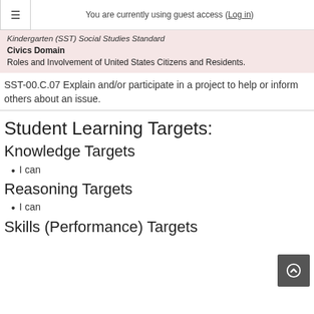≡   You are currently using guest access (Log in)
Kindergarten (SST) Social Studies Standard
Civics Domain
Roles and Involvement of United States Citizens and Residents.
SST-00.C.07 Explain and/or participate in a project to help or inform others about an issue.
Student Learning Targets:
Knowledge Targets
I can
Reasoning Targets
I can
Skills (Performance) Targets